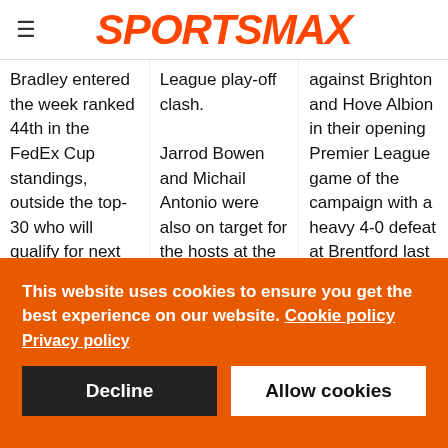SPORTSMAX
Bradley entered the week ranked 44th in the FedEx Cup standings, outside the top-30 who will qualify for next week's Tour Championship, but
League play-off clash.

Jarrod Bowen and Michail Antonio were also on target for the hosts at the London Stadium, with Jakob Bonde's
against Brighton and Hove Albion in their opening Premier League game of the campaign with a heavy 4-0 defeat at Brentford last weekend
This website uses cookies to ensure you get the best experience on our website. Cookie policy
Privacy policy
Decline
Allow cookies